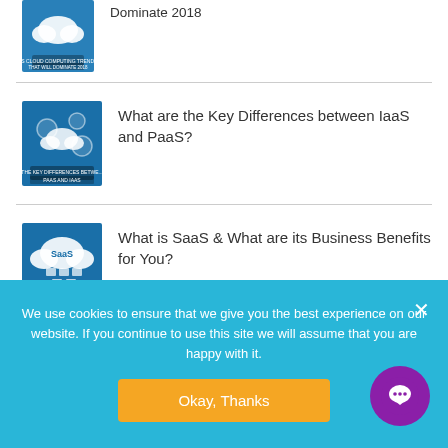Dominate 2018
What are the Key Differences between IaaS and PaaS?
What is SaaS & What are its Business Benefits for You?
We use cookies to ensure that we give you the best experience on our website. If you continue to use this site we will assume that you are happy with it.
Okay, Thanks